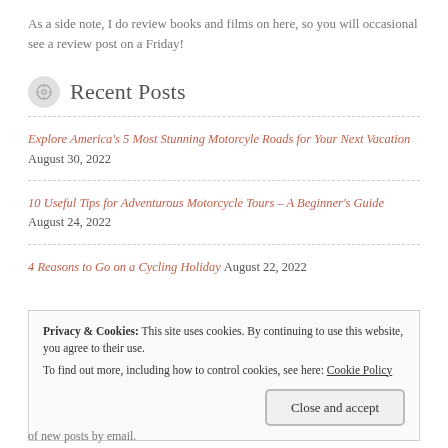As a side note, I do review books and films on here, so you will occasional see a review post on a Friday!
Recent Posts
Explore America's 5 Most Stunning Motorcyle Roads for Your Next Vacation August 30, 2022
10 Useful Tips for Adventurous Motorcycle Tours – A Beginner's Guide August 24, 2022
4 Reasons to Go on a Cycling Holiday August 22, 2022
Privacy & Cookies: This site uses cookies. By continuing to use this website, you agree to their use. To find out more, including how to control cookies, see here: Cookie Policy Close and accept
of new posts by email.